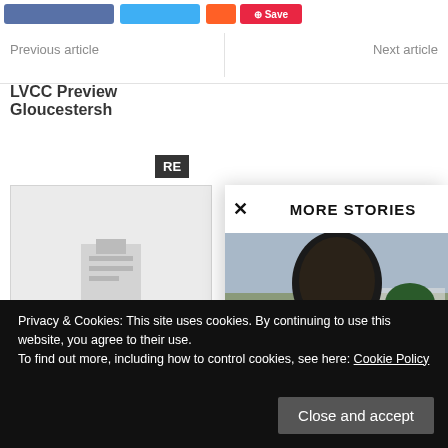[Figure (screenshot): Social share buttons: Facebook (blue), Twitter (cyan), Reddit (red), Pinterest Save (red)]
Previous article
Next article
LVCC Preview Gloucestershire
RE
[Figure (illustration): Warwickshire thumbnail placeholder with document icon]
Warwickshire v
MORE STORIES
[Figure (photo): Cricketer close-up portrait outdoors at cricket ground]
LV County Championship Kent
Privacy & Cookies: This site uses cookies. By continuing to use this website, you agree to their use.
To find out more, including how to control cookies, see here: Cookie Policy
Close and accept